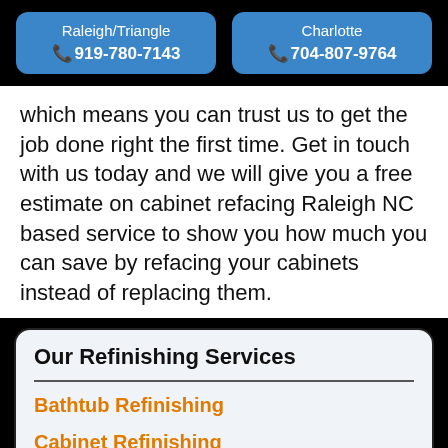Raleigh/Triangle 919-780-7143 | Charlotte 704-807-9764
which means you can trust us to get the job done right the first time. Get in touch with us today and we will give you a free estimate on cabinet refacing Raleigh NC based service to show you how much you can save by refacing your cabinets instead of replacing them.
Our Refinishing Services
Bathtub Refinishing
Cabinet Refinishing
Countertop Refinishing